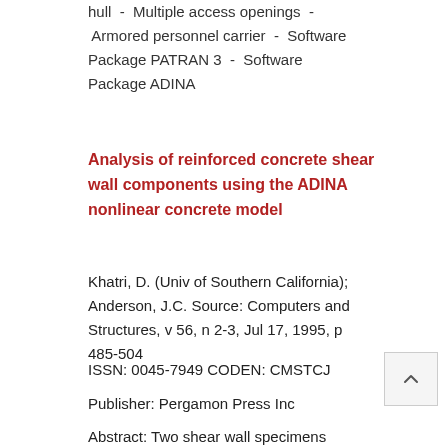hull  -  Multiple access openings  -  Armored personnel carrier  -  Software Package PATRAN 3  -  Software Package ADINA
Analysis of reinforced concrete shear wall components using the ADINA nonlinear concrete model
Khatri, D. (Univ of Southern California); Anderson, J.C. Source: Computers and Structures, v 56, n 2-3, Jul 17, 1995, p 485-504
ISSN: 0045-7949 CODEN: CMSTCJ
Publisher: Pergamon Press Inc
Abstract: Two shear wall specimens